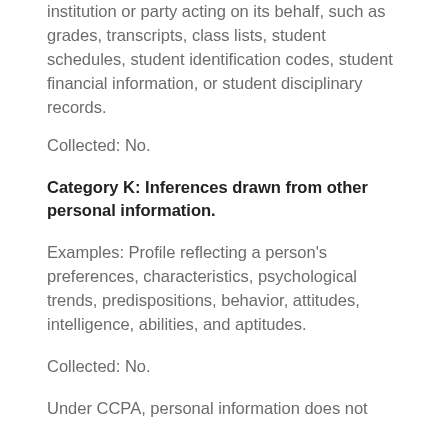institution or party acting on its behalf, such as grades, transcripts, class lists, student schedules, student identification codes, student financial information, or student disciplinary records.
Collected: No.
Category K: Inferences drawn from other personal information.
Examples: Profile reflecting a person’s preferences, characteristics, psychological trends, predispositions, behavior, attitudes, intelligence, abilities, and aptitudes.
Collected: No.
Under CCPA, personal information does not